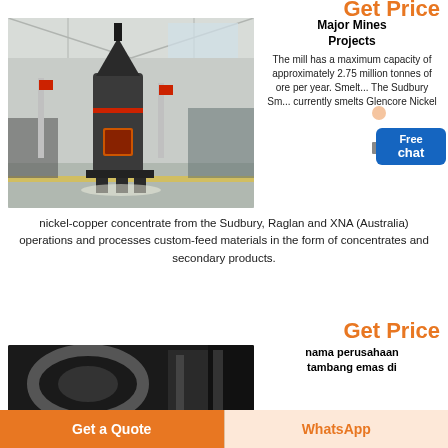Get Price
[Figure (photo): Industrial mill/grinding machine in a large factory warehouse with high ceiling and natural lighting]
Major Mines Projects
The mill has a maximum capacity of approximately 2.75 million tonnes of ore per year. Smelting: The Sudbury Smelter currently smelts Glencore Nickel nickel-copper concentrate from the Sudbury, Raglan and XNA (Australia) operations and processes custom-feed materials in the form of concentrates and secondary products.
Get Price
[Figure (photo): Close-up of large industrial machinery/drum in dark setting]
nama perusahaan tambang emas di
Get a Quote
WhatsApp